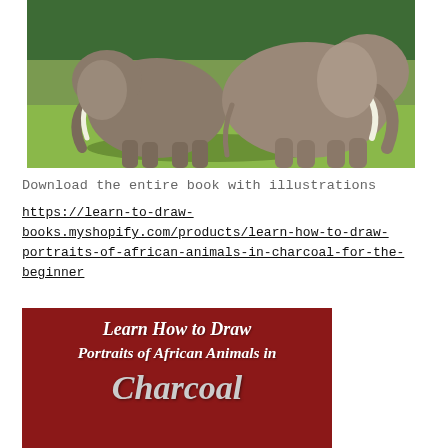[Figure (photo): Two African elephants walking on a grassy plain with trees in the background. The elephants have large white tusks and are photographed from the side.]
Download the entire book with illustrations
https://learn-to-draw-books.myshopify.com/products/learn-how-to-draw-portraits-of-african-animals-in-charcoal-for-the-beginner
[Figure (photo): Book cover with dark red background displaying title: Learn How to Draw Portraits of African Animals in Charcoal]